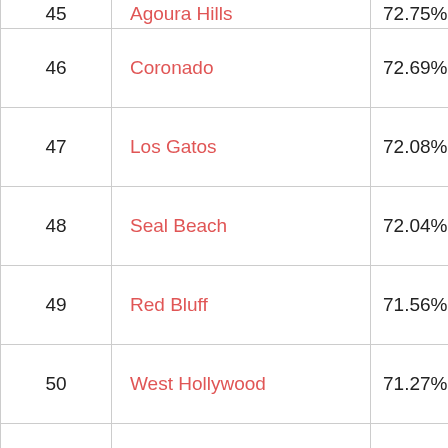| Rank | City | Percentage |
| --- | --- | --- |
| 45 | Agoura Hills | 72.75% |
| 46 | Coronado | 72.69% |
| 47 | Los Gatos | 72.08% |
| 48 | Seal Beach | 72.04% |
| 49 | Red Bluff | 71.56% |
| 50 | West Hollywood | 71.27% |